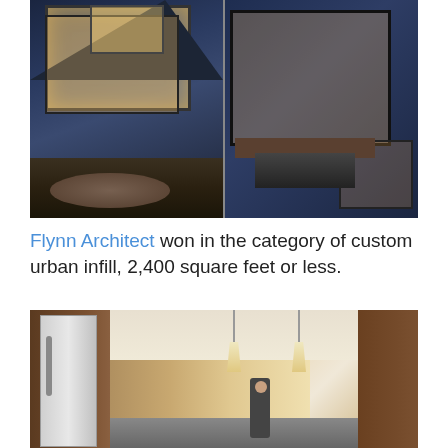[Figure (photo): Split architectural photo showing exterior night views of a modern house with large windows illuminated from inside, left side shows gabled facade with gravel landscaping, right side shows deck entrance with large glazed openings]
Flynn Architect won in the category of custom urban infill, 2,400 square feet or less.
[Figure (photo): Interior photo of a modern kitchen hallway with wood paneling, stainless steel refrigerator on left, pendant lights hanging from ceiling, two people visible in the background near glass door]